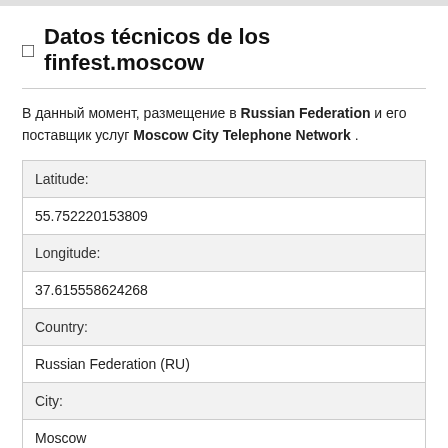🔲  Datos técnicos de los finfest.moscow
В данный момент, размещение в Russian Federation и его поставщик услуг Moscow City Telephone Network .
| Latitude: |
| 55.752220153809 |
| Longitude: |
| 37.615558624268 |
| Country: |
| Russian Federation (RU) |
| City: |
| Moscow |